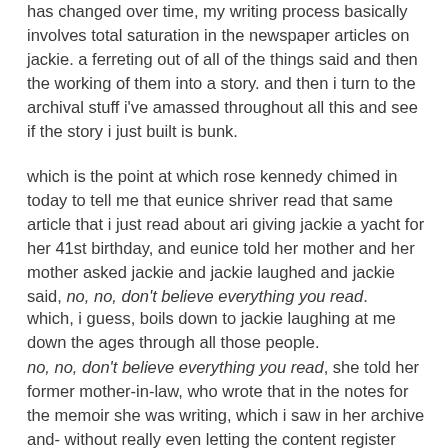has changed over time, my writing process basically involves total saturation in the newspaper articles on jackie. a ferreting out of all of the things said and then the working of them into a story. and then i turn to the archival stuff i've amassed throughout all this and see if the story i just built is bunk.
which is the point at which rose kennedy chimed in today to tell me that eunice shriver read that same article that i just read about ari giving jackie a yacht for her 41st birthday, and eunice told her mother and her mother asked jackie and jackie laughed and jackie said, no, no, don't believe everything you read.
which, i guess, boils down to jackie laughing at me down the ages through all those people.
no, no, don't believe everything you read, she told her former mother-in-law, who wrote that in the notes for the memoir she was writing, which i saw in her archive and- without really even letting the content register before my eyes- photographed back on that one afternoon at the JFKL in